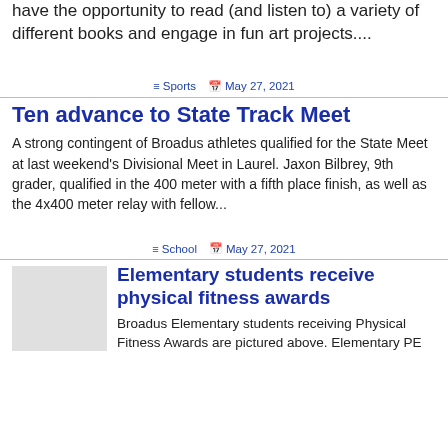have the opportunity to read (and listen to) a variety of different books and engage in fun art projects....
≡ Sports  🗓 May 27, 2021
Ten advance to State Track Meet
A strong contingent of Broadus athletes qualified for the State Meet at last weekend's Divisional Meet in Laurel. Jaxon Bilbrey, 9th grader, qualified in the 400 meter with a fifth place finish, as well as the 4x400 meter relay with fellow...
≡ School  🗓 May 27, 2021
Elementary students receive physical fitness awards
Broadus Elementary students receiving Physical Fitness Awards are pictured above. Elementary PE